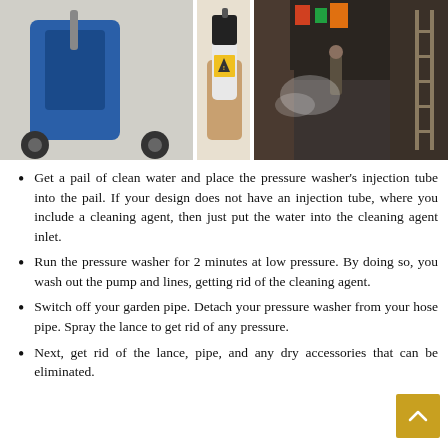[Figure (photo): Three photos side by side: left shows a blue pressure washer machine from above, center shows a hand holding a spray can of pump cleaner/protector with yellow warning label, right shows a dark alley with a person using a pressure washer creating steam/mist, with a ladder visible on the right.]
Get a pail of clean water and place the pressure washer's injection tube into the pail. If your design does not have an injection tube, where you include a cleaning agent, then just put the water into the cleaning agent inlet.
Run the pressure washer for 2 minutes at low pressure. By doing so, you wash out the pump and lines, getting rid of the cleaning agent.
Switch off your garden pipe. Detach your pressure washer from your hose pipe. Spray the lance to get rid of any pressure.
Next, get rid of the lance, pipe, and any dry accessories that can be eliminated.